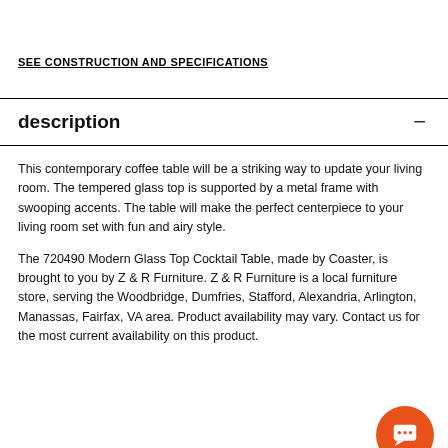SEE CONSTRUCTION AND SPECIFICATIONS
description
This contemporary coffee table will be a striking way to update your living room. The tempered glass top is supported by a metal frame with swooping accents. The table will make the perfect centerpiece to your living room set with fun and airy style.
The 720490 Modern Glass Top Cocktail Table, made by Coaster, is brought to you by Z & R Furniture. Z & R Furniture is a local furniture store, serving the Woodbridge, Dumfries, Stafford, Alexandria, Arlington, Manassas, Fairfax, VA area. Product availability may vary. Contact us for the most current availability on this product.